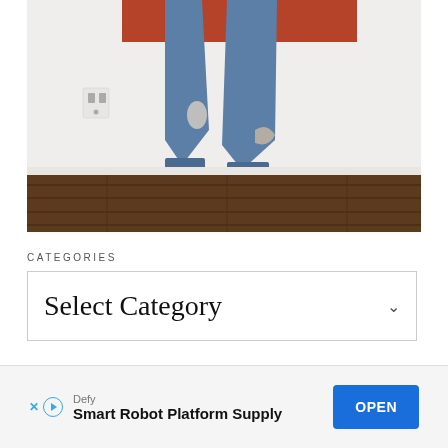[Figure (photo): Lower body of a person wearing distressed blue jeans and brown ankle-strap sandals, standing on a dark wood floor against a white wall with a rust-colored panel and an electrical outlet visible.]
CATEGORIES
Select Category
Defy
Smart Robot Platform Supply
OPEN